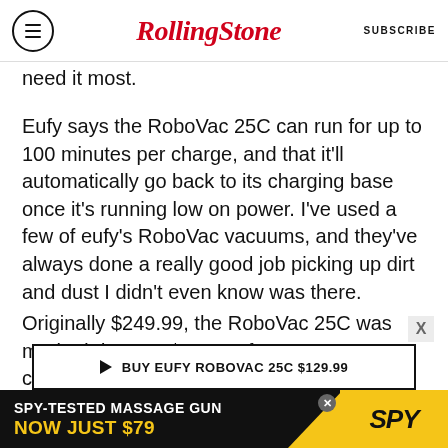Rolling Stone | SUBSCRIBE
need it most.
Eufy says the RoboVac 25C can run for up to 100 minutes per charge, and that it'll automatically go back to its charging base once it's running low on power. I've used a few of eufy's RoboVac vacuums, and they've always done a really good job picking up dirt and dust I didn't even know was there.
Originally $249.99, the RoboVac 25C was marked down to $129.99 for a smarter, cleaner house.
[Figure (other): Buy button banner: BUY EUFY ROBOVAC 25C $129.99]
[Figure (other): Advertisement banner: SPY-TESTED MASSAGE GUN NOW JUST $79 with SPY logo]